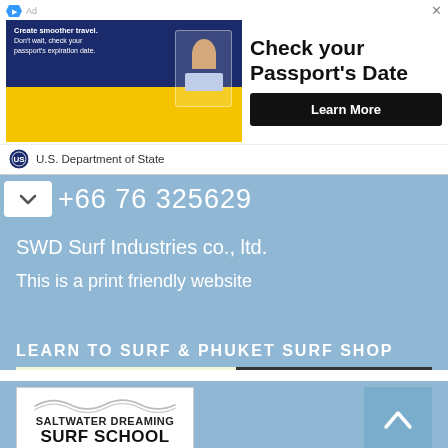[Figure (infographic): Advertisement banner for U.S. Department of State: Check your Passport's Date, with Learn More button. Shows a passport image on the left and department seal at bottom.]
+66 76 325629
SWD Surf Industries co., ltd.
This is a print friendly website
LEARN TO SURF & PHUKET SURF SHOP
[Figure (logo): Saltwater Dreaming Surf School Phuket logo with wave design and person silhouette]